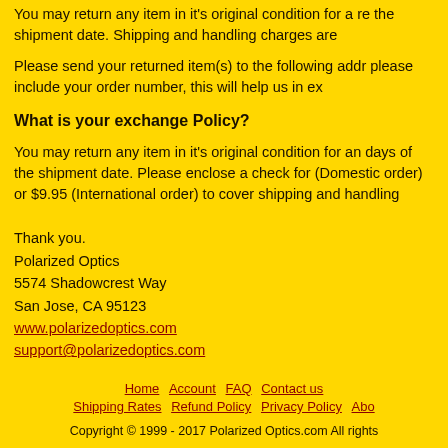You may return any item in it's original condition for a re the shipment date. Shipping and handling charges are
Please send your returned item(s) to the following addr please include your order number, this will help us in ex
What is your exchange Policy?
You may return any item in it's original condition for an days of the shipment date. Please enclose a check for (Domestic order) or $9.95 (International order) to cover shipping and handling
Thank you.
Polarized Optics
5574 Shadowcrest Way
San Jose, CA 95123
www.polarizedoptics.com
support@polarizedoptics.com
Home  Account  FAQ  Contact us
Shipping Rates  Refund Policy  Privacy Policy  Abo
Copyright © 1999 - 2017 Polarized Optics.com All rights